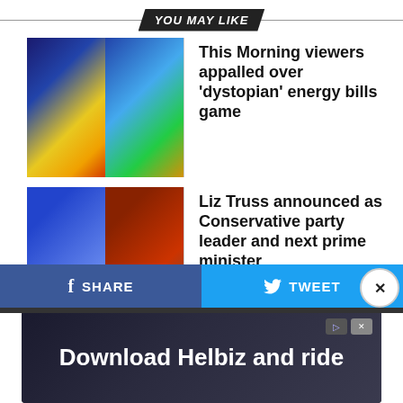YOU MAY LIKE
[Figure (photo): Thumbnail image for first news story - game wheel]
This Morning viewers appalled over 'dystopian' energy bills game
[Figure (photo): Thumbnail image for second news story - two women]
Liz Truss announced as Conservative party leader and next prime minister
[Figure (photo): Thumbnail image for third news story - two people]
Happy Mondays star Bez marries fiancée in low-key ceremony
[Figure (photo): Thumbnail image for fourth news story - buildings]
Future of Metrolink 'unclear' as passenger numbers fall and government
SHARE
TWEET
[Figure (infographic): Advertisement banner: Download Helbiz and ride]